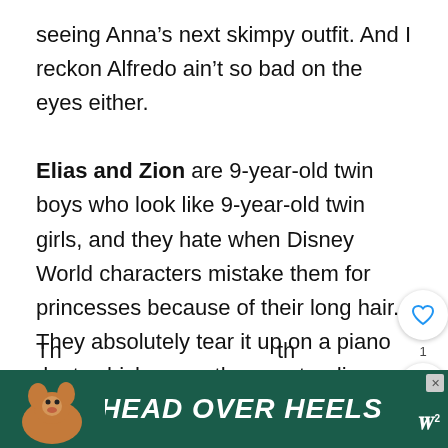seeing Anna's next skimpy outfit. And I reckon Alfredo ain't so bad on the eyes either.
Elias and Zion are 9-year-old twin boys who look like 9-year-old twin girls, and they hate when Disney World characters mistake them for princesses because of their long hair. They absolutely tear it up on a piano duet, which earns them a standing ovation. They're adorable in a bizarre sort of way, and with spunky personalities to boot, it's four you...
[Figure (screenshot): UI overlay with heart/like button showing count 1 and a share button]
[Figure (screenshot): What's Next promo box: 'All About The Latest Seas...' with thumbnail]
[Figure (screenshot): Advertisement banner: HEAD OVER HEELS with dog image on dark green background]